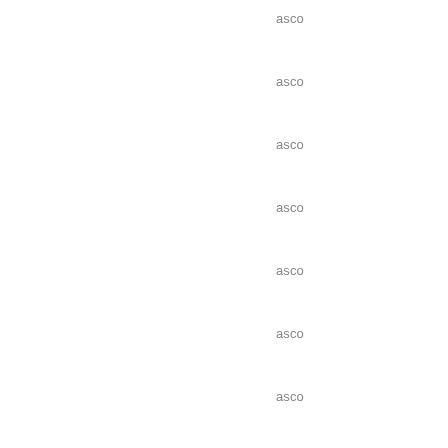asco
asco
asco
asco
asco
asco
asco
asco
asco
asco
asco
asco
asco
asco
asco
asco
asco